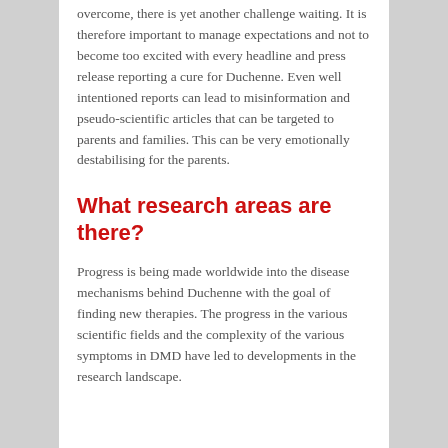overcome, there is yet another challenge waiting. It is therefore important to manage expectations and not to become too excited with every headline and press release reporting a cure for Duchenne. Even well intentioned reports can lead to misinformation and pseudo-scientific articles that can be targeted to parents and families. This can be very emotionally destabilising for the parents.
What research areas are there?
Progress is being made worldwide into the disease mechanisms behind Duchenne with the goal of finding new therapies. The progress in the various scientific fields and the complexity of the various symptoms in DMD have led to developments in the research landscape.